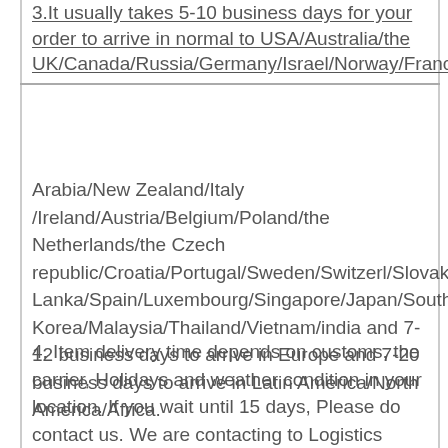3.It usually takes 5-10 business days for your order to arrive in normal to USA/Australia/the UK/Canada/Russia/Germany/Israel/Norway/France
Arabia/New Zealand/Italy /Ireland/Austria/Belgium/Poland/the Netherlands/the Czech republic/Croatia/Portugal/Sweden/Switzerl/Slovakia/Qatar/Malta/Sri Lanka/Spain/Luxembourg/Singapore/Japan/South Korea/Malaysia/Thailand/Vietnam/india and 7-12 business days to arrive in Europe and 7-20 business days to arrive in Latin America/North America/Africa.
4. Item delivery time depends on customs, the carrier, Holidays and weather condition in your location. If you wait until 15 days, Please do contact us. We are contacting to Logistics